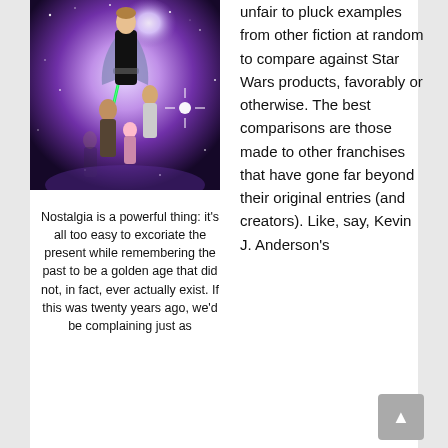[Figure (illustration): Star Wars movie poster artwork featuring Luke Skywalker in black outfit at top center with a glowing lightsaber, surrounded by other characters (Leia, Han Solo, and others) against a purple and white cosmic/galaxy background.]
Nostalgia is a powerful thing: it's all too easy to excoriate the present while remembering the past to be a golden age that did not, in fact, ever actually exist. If this was twenty years ago, we'd be complaining just as
unfair to pluck examples from other fiction at random to compare against Star Wars products, favorably or otherwise. The best comparisons are those made to other franchises that have gone far beyond their original entries (and creators). Like, say, Kevin J. Anderson's